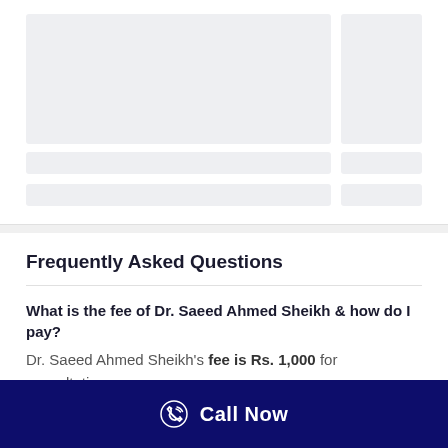[Figure (screenshot): Loading skeleton placeholder with two gray boxes side by side (main wide box left, narrow box right) and two rows of gray skeleton lines below]
Frequently Asked Questions
What is the fee of Dr. Saeed Ahmed Sheikh & how do I pay?
Dr. Saeed Ahmed Sheikh's fee is Rs. 1,000 for consultation.
[Figure (screenshot): Call Now button bar at the bottom with phone icon and white text on dark navy background]